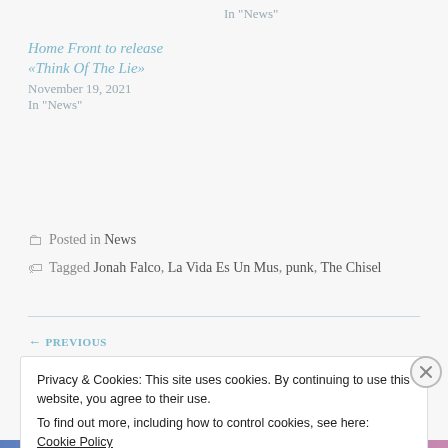In "News"
Home Front to release «Think Of The Lie»
November 19, 2021
In "News"
Posted in News
Tagged Jonah Falco, La Vida Es Un Mus, punk, The Chisel
← PREVIOUS
Privacy & Cookies: This site uses cookies. By continuing to use this website, you agree to their use.
To find out more, including how to control cookies, see here: Cookie Policy
Close and accept